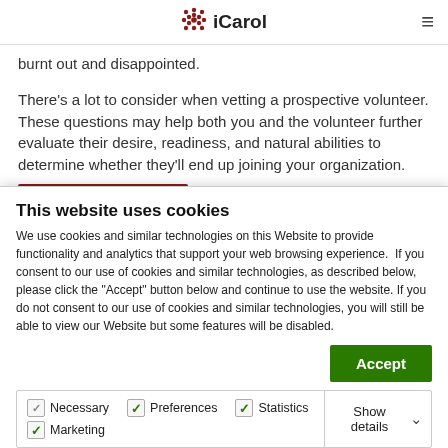iCarol
burnt out and disappointed.
There's a lot to consider when vetting a prospective volunteer. These questions may help both you and the volunteer further evaluate their desire, readiness, and natural abilities to determine whether they'll end up joining your organization.
This website uses cookies
We use cookies and similar technologies on this Website to provide functionality and analytics that support your web browsing experience.  If you consent to our use of cookies and similar technologies, as described below, please click the "Accept" button below and continue to use the website. If you do not consent to our use of cookies and similar technologies, you will still be able to view our Website but some features will be disabled.
Accept
Necessary  Preferences  Statistics  Marketing  Show details